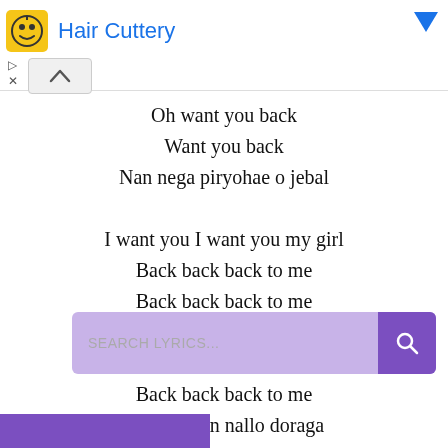[Figure (screenshot): Advertisement banner for Hair Cuttery with yellow icon and blue text, with ad controls (play arrow and X)]
Oh want you back
Want you back
Nan nega piryohae o jebal

I want you I want you my girl
Back back back to me
Back back back to me
Neo eopsin sumeul swil sudo eopseo
Back back back to me
Back back back to me
Dasi joheun nallo doraga
Back back back to me
[Figure (screenshot): Search lyrics input bar with purple background and magnifying glass search button]